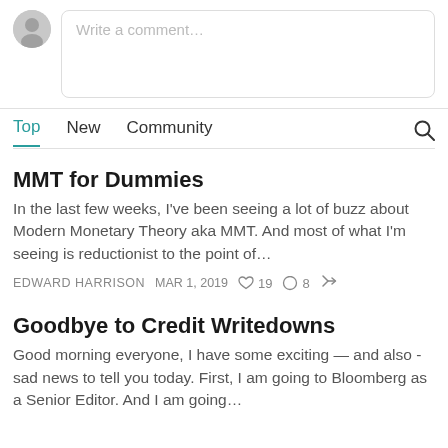[Figure (other): Comment input area with user avatar and text field placeholder 'Write a comment...']
Top  New  Community
MMT for Dummies
In the last few weeks, I've been seeing a lot of buzz about Modern Monetary Theory aka MMT. And most of what I'm seeing is reductionist to the point of…
EDWARD HARRISON  MAR 1, 2019  ♡ 19  ◯ 8  ↗
Goodbye to Credit Writedowns
Good morning everyone, I have some exciting — and also - sad news to tell you today. First, I am going to Bloomberg as a Senior Editor. And I am going…